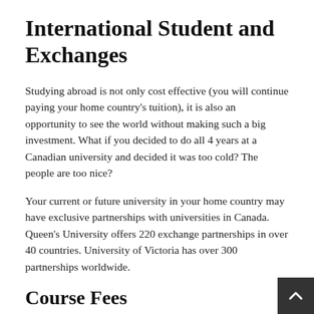International Student and Exchanges
Studying abroad is not only cost effective (you will continue paying your home country's tuition), it is also an opportunity to see the world without making such a big investment. What if you decided to do all 4 years at a Canadian university and decided it was too cold? The people are too nice?
Your current or future university in your home country may have exclusive partnerships with universities in Canada. Queen's University offers 220 exchange partnerships in over 40 countries. University of Victoria has over 300 partnerships worldwide.
Course Fees
If you haven't already figured it out, studying in Canada an international student is generally much less expensiv